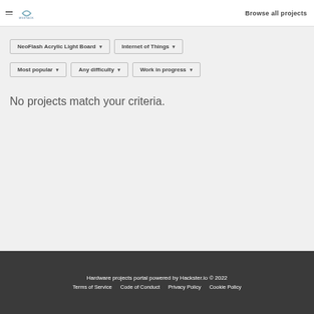Browse all projects
NeoFlash Acrylic Light Board ▾   Internet of Things ▾   Most popular ▾   Any difficulty ▾   Work in progress ▾
No projects match your criteria.
Hardware projects portal powered by Hackster.io © 2022  Terms of Service   Code of Conduct   Privacy Policy   Cookie Policy